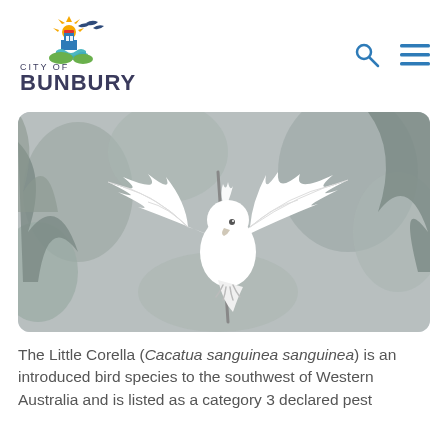[Figure (logo): City of Bunbury logo with colourful tower/bird graphic, text CITY OF BUNBURY]
[Figure (photo): White Little Corella bird with wings spread wide, perched on a branch, against a blurred grey-green foliage background]
The Little Corella (Cacatua sanguinea sanguinea) is an introduced bird species to the southwest of Western Australia and is listed as a category 3 declared pest